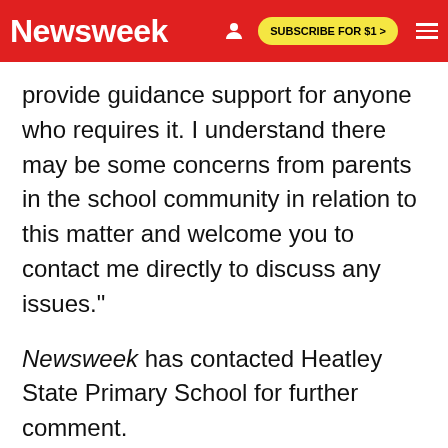Newsweek | SUBSCRIBE FOR $1 >
provide guidance support for anyone who requires it. I understand there may be some concerns from parents in the school community in relation to this matter and welcome you to contact me directly to discuss any issues."
Newsweek has contacted Heatley State Primary School for further comment.